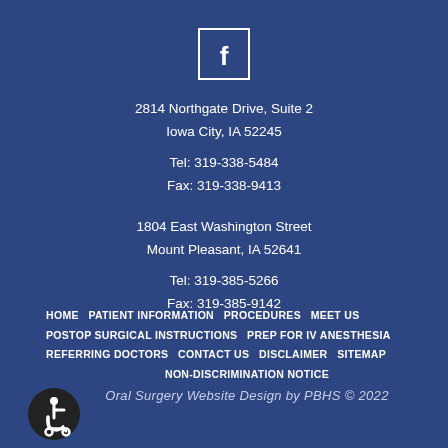[Figure (logo): Facebook icon - white letter f inside a white-bordered square, centered on dark blue background]
2814 Northgate Drive, Suite 2
Iowa City, IA 52245

Tel: 319-338-5484
Fax: 319-338-9413
1804 East Washington Street
Mount Pleasant, IA 52641

Tel: 319-385-5266
Fax: 319-385-9142
HOME  PATIENT INFORMATION  PROCEDURES  MEET US  POSTOP SURGICAL INSTRUCTIONS  PREP FOR IV ANESTHESIA  REFERRING DOCTORS  CONTACT US  DISCLAIMER  SITEMAP  NON-DISCRIMINATION NOTICE
Oral Surgery Website Design by PBHS © 2022